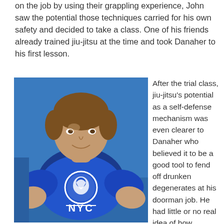on the job by using their grappling experience, John saw the potential those techniques carried for his own safety and decided to take a class. One of his friends already trained jiu-jitsu at the time and took Danaher to his first lesson.
[Figure (photo): Photo of John Danaher wearing a blue NYC rash guard with a panther logo, seated against a blue background.]
After the trial class, jiu-jitsu's potential as a self-defense mechanism was even clearer to Danaher who believed it to be a good tool to fend off drunken degenerates at his doorman job. He had little or no real idea of how grappling